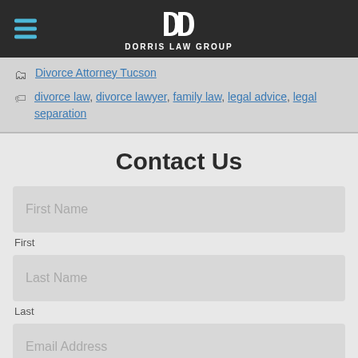Dorris Law Group
Divorce Attorney Tucson
divorce law, divorce lawyer, family law, legal advice, legal separation
Contact Us
First Name
First
Last Name
Last
Email Address